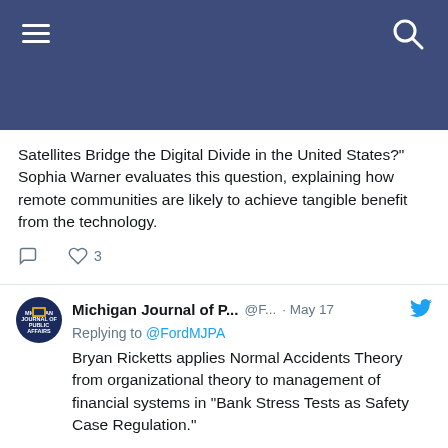Michigan Journal of Public Affairs - Twitter feed header
Satellites Bridge the Digital Divide in the United States?" Sophia Warner evaluates this question, explaining how remote communities are likely to achieve tangible benefit from the technology.
Comment 0 · Like 3
Michigan Journal of P... @F... · May 17 — Replying to @FordMJPA — Bryan Ricketts applies Normal Accidents Theory from organizational theory to management of financial systems in "Bank Stress Tests as Safety Case Regulation."
Reply 1 · Like 1
Michigan Journal of P... @F... · May 17 — Replying to @FordMJPA